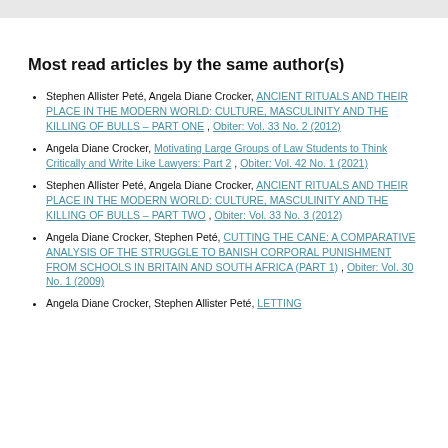Most read articles by the same author(s)
Stephen Allister Peté, Angela Diane Crocker, ANCIENT RITUALS AND THEIR PLACE IN THE MODERN WORLD: CULTURE, MASCULINITY AND THE KILLING OF BULLS – PART ONE , Obiter: Vol. 33 No. 2 (2012)
Angela Diane Crocker, Motivating Large Groups of Law Students to Think Critically and Write Like Lawyers: Part 2 , Obiter: Vol. 42 No. 1 (2021)
Stephen Allister Peté, Angela Diane Crocker, ANCIENT RITUALS AND THEIR PLACE IN THE MODERN WORLD: CULTURE, MASCULINITY AND THE KILLING OF BULLS – PART TWO , Obiter: Vol. 33 No. 3 (2012)
Angela Diane Crocker, Stephen Peté, CUTTING THE CANE: A COMPARATIVE ANALYSIS OF THE STRUGGLE TO BANISH CORPORAL PUNISHMENT FROM SCHOOLS IN BRITAIN AND SOUTH AFRICA (PART 1) , Obiter: Vol. 30 No. 1 (2009)
Angela Diane Crocker, Stephen Allister Peté, LETTING...